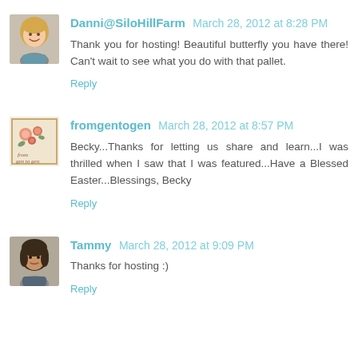Danni@SiloHillFarm March 28, 2012 at 8:28 PM
Thank you for hosting! Beautiful butterfly you have there! Can't wait to see what you do with that pallet.
Reply
fromgentogen March 28, 2012 at 8:57 PM
Becky...Thanks for letting us share and learn...I was thrilled when I saw that I was featured...Have a Blessed Easter...Blessings, Becky
Reply
Tammy March 28, 2012 at 9:09 PM
Thanks for hosting :)
Reply